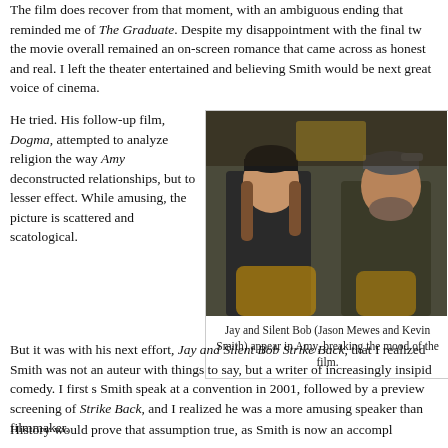The film does recover from that moment, with an ambiguous ending that reminded me of The Graduate. Despite my disappointment with the final two, the movie overall remained an on-screen romance that came across as honest and real. I left the theater entertained and believing Smith would be the next great voice of cinema.
He tried. His follow-up film, Dogma, attempted to analyze religion the way Amy deconstructed relationships, but to lesser effect. While amusing, the picture is scattered and scatological.
[Figure (photo): Two men sitting at a bar or restaurant — one with long hair wearing a black beanie, another with a backwards cap — appearing to be from a film scene.]
Jay and Silent Bob (Jason Mewes and Kevin Smith) appear in Amy, breaking the mood of the film.
But it was with his next effort, Jay and Silent Bob Strike Back, that I realized Smith was not an auteur with things to say, but a writer of increasingly insipid comedy. I first saw Smith speak at a convention in 2001, followed by a preview screening of Strike Back, and I realized he was a more amusing speaker than filmmaker.
History would prove that assumption true, as Smith is now an accomplished...